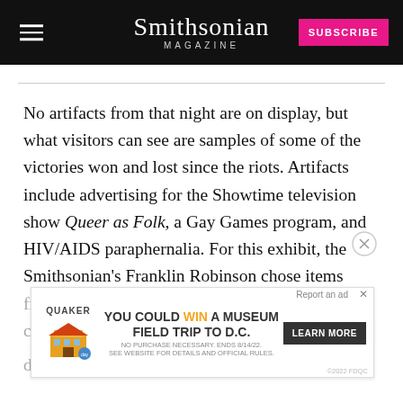Smithsonian MAGAZINE
No artifacts from that night are on display, but what visitors can see are samples of some of the victories won and lost since the riots. Artifacts include advertising for the Showtime television show Queer as Folk, a Gay Games program, and HIV/AIDS paraphernalia. For this exhibit, the Smithsonian's Franklin Robinson chose items from the Archives Center, which specializes in collecting material documenting a few aspects of gay history and
[Figure (screenshot): Quaker Museum Day advertisement: 'You could win a museum field trip to D.C. Learn More']